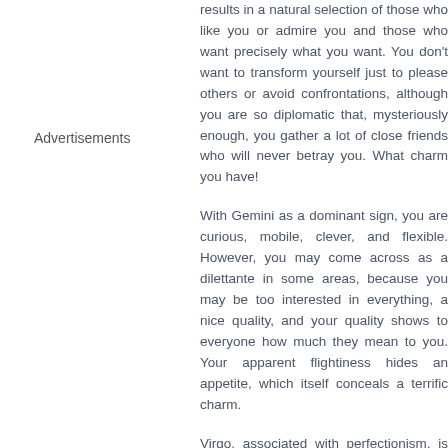results in a natural selection of those who like you or admire you and those who want precisely what you want. You don't want to transform yourself just to please others or avoid confrontations, although you are so diplomatic that, mysteriously enough, you gather a lot of close friends who will never betray you. What charm you have!
With Gemini as a dominant sign, you are curious, mobile, clever, and flexible. However, you may come across as a dilettante in some areas, because you may be too interested in everything, a nice quality, and your quality shows to everyone how much they mean to you. Your apparent flightiness hides an appetite, which itself conceals a terrific charm.
Virgo, associated with perfectionism, is among your dominant signs: you inherit its sense of a demanding mind, an unfailing logic, as w
Advertisements